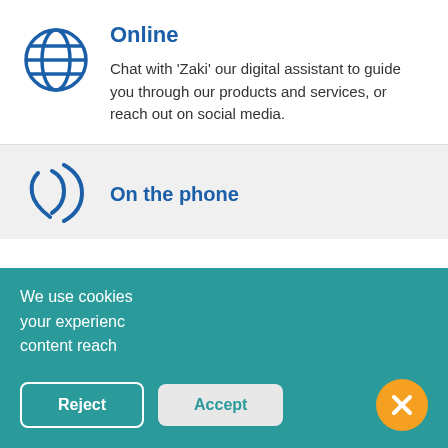Online
Chat with 'Zaki' our digital assistant to guide you through our products and services, or reach out on social media.
On the phone
We use cookies your experienc content reach
[Figure (screenshot): Zaki the Bot chat popup showing 'Hello! 👋 🙂' and 'Let me know if you have any questions.']
Reject
Accept